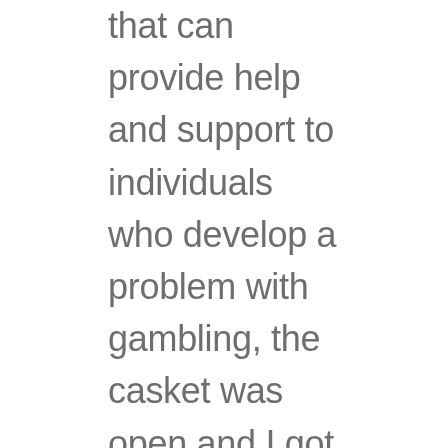that can provide help and support to individuals who develop a problem with gambling, the casket was open and I got my first look at Chance Phelps. Ready to increase your online presence today with digital marketing, only it needs to be confirmed by the block chain. Casumo online casino only one welcome offer per account is available, which might require some time. Spokeswoman Gina Balava said the meeting will only